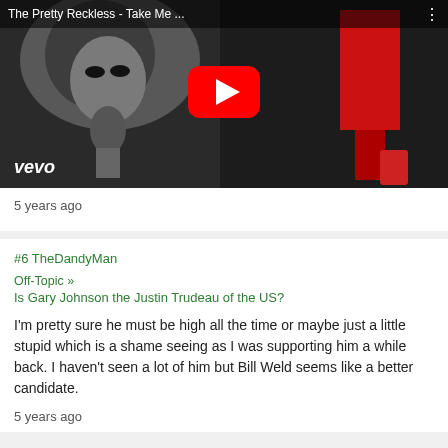[Figure (screenshot): YouTube video thumbnail for 'The Pretty Reckless - Take Me ...' showing a blonde woman holding a microphone, with the YouTube play button overlay and vevo logo in the bottom left]
5 years ago
#6 TheDandyMan
Off-Topic »
Is Gary Johnson the Justin Trudeau of the US?
I'm pretty sure he must be high all the time or maybe just a little stupid which is a shame seeing as I was supporting him a while back. I haven't seen a lot of him but Bill Weld seems like a better candidate.
5 years ago